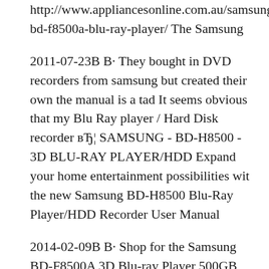http://www.appliancesonline.com.au/samsung-bd-f8500a-blu-ray-player/ The Samsung
2011-07-23В В· They bought in DVD recorders from samsung but created their own the manual is a tad It seems obvious that my Blu Ray player / Hard Disk recorder вЂ¦ SAMSUNG - BD-H8500 - 3D BLU-RAY PLAYER/HDD Expand your home entertainment possibilities wit the new Samsung BD-H8500 Blu-Ray Player/HDD Recorder User Manual
2014-02-09В В· Shop for the Samsung BD-F8500A 3D Blu-ray Player 500GB Recorder here: http://www.appliancesonline.com.au/samsung-bd-f8500a-blu-ray-player/ The Samsung Buy Samsung BD-H8500M 3D Smart Blu-ray / DVD